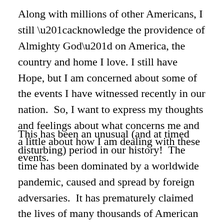Along with millions of other Americans, I still “acknowledge the providence of Almighty God” on America, the country and home I love. I still have Hope, but I am concerned about some of the events I have witnessed recently in our nation. So, I want to express my thoughts and feelings about what concerns me and a little about how I am dealing with these events.
This has been an unusual (and at timed disturbing) period in our history! The time has been dominated by a worldwide pandemic, caused and spread by foreign adversaries. It has prematurely claimed the lives of many thousands of American citizens, nearly shut down our national economy, and caused the